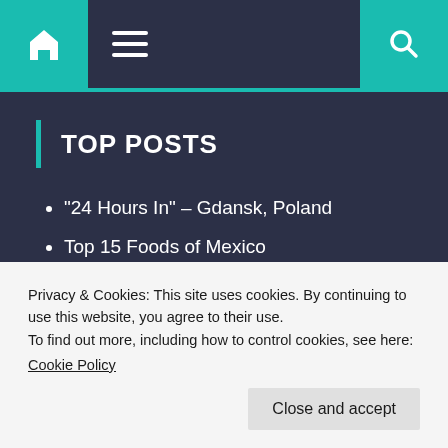Navigation bar with home icon, hamburger menu, and search icon
TOP POSTS
"24 Hours In" – Gdansk, Poland
Top 15 Foods of Mexico
FOLLOW ME @
[Figure (illustration): Instagram and YouTube social media icons]
Privacy & Cookies: This site uses cookies. By continuing to use this website, you agree to their use.
To find out more, including how to control cookies, see here:
Cookie Policy
Close and accept